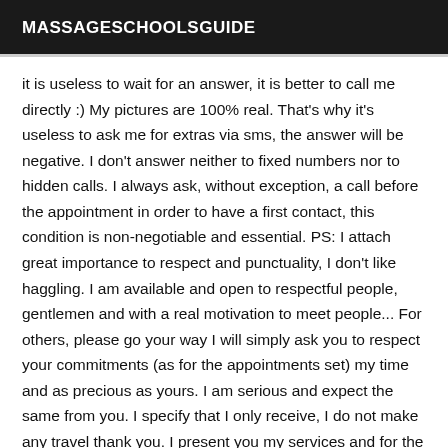MASSAGESCHOOLSGUIDE
it is useless to wait for an answer, it is better to call me directly :) My pictures are 100% real. That's why it's useless to ask me for extras via sms, the answer will be negative. I don't answer neither to fixed numbers nor to hidden calls. I always ask, without exception, a call before the appointment in order to have a first contact, this condition is non-negotiable and essential. PS: I attach great importance to respect and punctuality, I don't like haggling. I am available and open to respectful people, gentlemen and with a real motivation to meet people... For others, please go your way I will simply ask you to respect your commitments (as for the appointments set) my time and as precious as yours. I am serious and expect the same from you. I specify that I only receive, I do not make any travel thank you. I present you my services and for the proposal of 50 pink please refrain because I will not change my mind thank